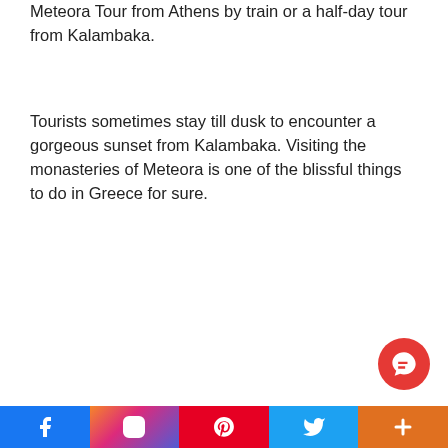Meteora Tour from Athens by train or a half-day tour from Kalambaka.
Tourists sometimes stay till dusk to encounter a gorgeous sunset from Kalambaka. Visiting the monasteries of Meteora is one of the blissful things to do in Greece for sure.
[Figure (screenshot): Booking widget with yellow/orange background, fields for Destination name (Meteora), Check-in date (10 Sep, Sa), and partially visible Check-out date label]
Facebook | Instagram | Pinterest | Twitter | More